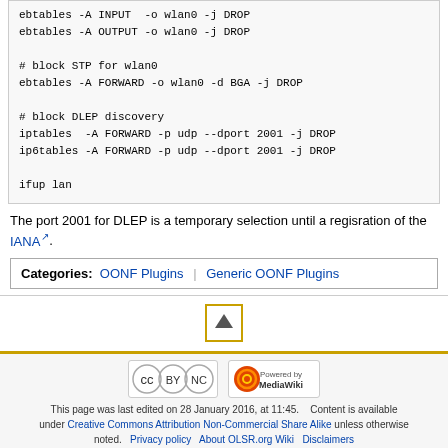ebtables -A INPUT  -o wlan0 -j DROP
ebtables -A OUTPUT -o wlan0 -j DROP

# block STP for wlan0
ebtables -A FORWARD -o wlan0 -d BGA -j DROP

# block DLEP discovery
iptables  -A FORWARD -p udp --dport 2001 -j DROP
ip6tables -A FORWARD -p udp --dport 2001 -j DROP

ifup lan
The port 2001 for DLEP is a temporary selection until a regisration of the IANA.
Categories:  OONF Plugins | Generic OONF Plugins
[Figure (other): Scroll to top button with upward triangle arrow, bordered in gold/yellow]
This page was last edited on 28 January 2016, at 11:45.    Content is available under Creative Commons Attribution Non-Commercial Share Alike unless otherwise noted.   Privacy policy   About OLSR.org Wiki   Disclaimers